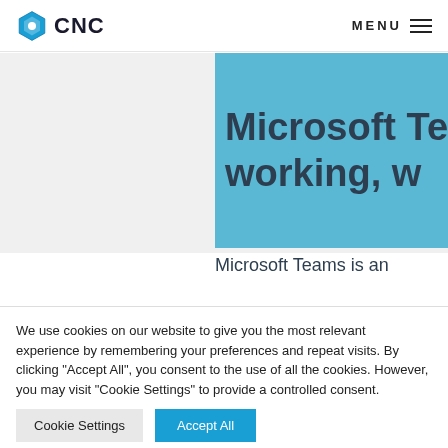[Figure (logo): CNC logo with blue hexagon icon and bold CNC text]
MENU
Microsoft Tea
working, w
Microsoft Teams is an
We use cookies on our website to give you the most relevant experience by remembering your preferences and repeat visits. By clicking “Accept All”, you consent to the use of all the cookies. However, you may visit "Cookie Settings" to provide a controlled consent.